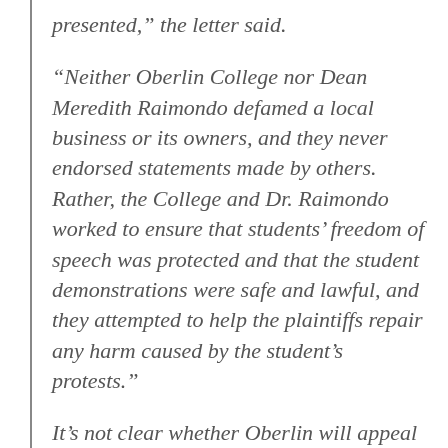presented,” the letter said.
“Neither Oberlin College nor Dean Meredith Raimondo defamed a local business or its owners, and they never endorsed statements made by others. Rather, the College and Dr. Raimondo worked to ensure that students’ freedom of speech was protected and that the student demonstrations were safe and lawful, and they attempted to help the plaintiffs repair any harm caused by the student’s protests.”
It’s not clear whether Oberlin will appeal the costly verdict.